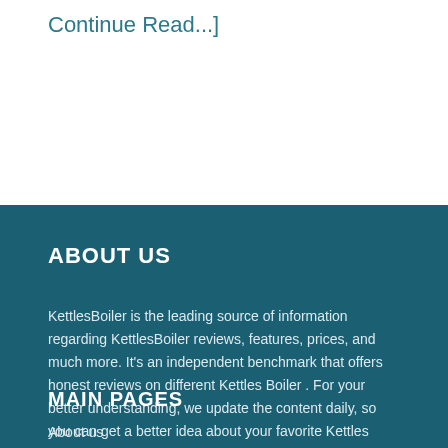Continue Read...]
ABOUT US
KettlesBoiler is the leading source of information regarding KettlesBoiler reviews, features, prices, and much more. It's an independent benchmark that offers honest reviews on different Kettles Boiler . For your better understanding, we update the content daily, so you can get a better idea about your favorite Kettles Boiler.
MAIN PAGES
About us